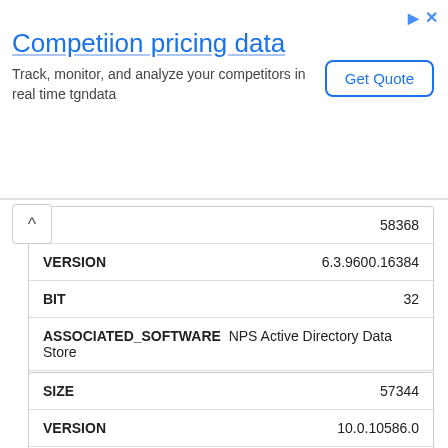[Figure (screenshot): Advertisement banner: 'Competiion pricing data' with tagline 'Track, monitor, and analyze your competitors in real time tgndata' and a 'Get Quote' button]
| Field | Value |
| --- | --- |
| SIZE (partial) | 58368 |
| VERSION | 6.3.9600.16384 |
| BIT | 32 |
| ASSOCIATED_SOFTWARE | NPS Active Directory Data Store |
| DOWNLOAD | Download |
| Field | Value |
| --- | --- |
| SIZE | 57344 |
| VERSION | 10.0.10586.0 |
| BIT | 32 |
| ASSOCIATED_SOFTWARE | NPS Active Directory Data Store |